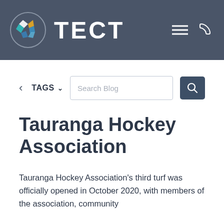[Figure (logo): TECT organization logo with colorful star icon on dark grey header background, with hamburger menu and phone icons on the right]
< TAGS ∨   Search Blog
Tauranga Hockey Association
Tauranga Hockey Association's third turf was officially opened in October 2020, with members of the association, community